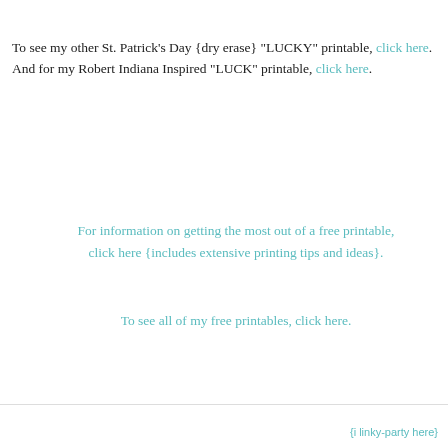To see my other St. Patrick's Day {dry erase} "LUCKY" printable, click here. And for my Robert Indiana Inspired "LUCK" printable, click here.
For information on getting the most out of a free printable, click here {includes extensive printing tips and ideas}.
To see all of my free printables, click here.
{i linky-party here}